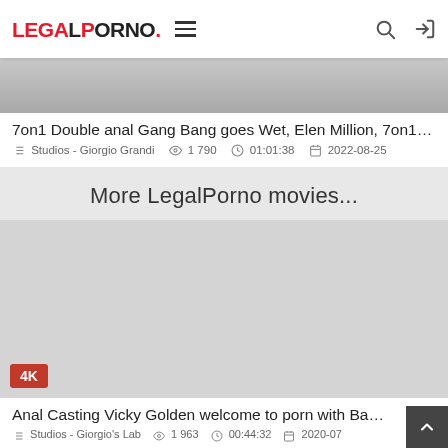LegalPorno navigation bar with logo, hamburger menu, search and login icons
[Figure (screenshot): Partial thumbnail image of a video, cropped at top]
7on1 Double anal Gang Bang goes Wet, Elen Million, 7on1, ...
Studios - Giorgio Grandi   1 790   01:01:38   2022-08-25
More LegalPorno movies...
[Figure (photo): Video thumbnail placeholder with 4K badge, light gray background]
Anal Casting Vicky Golden welcome to porn with Balls Deep
Studios - Giorgio's Lab   1 963   00:44:32   2020-07